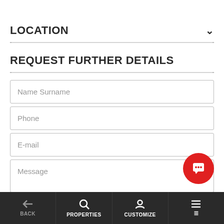LOCATION
REQUEST FURTHER DETAILS
Name Surname
Phone
E-mail
Message
BACK  PROPERTIES  CUSTOMIZE  ≡